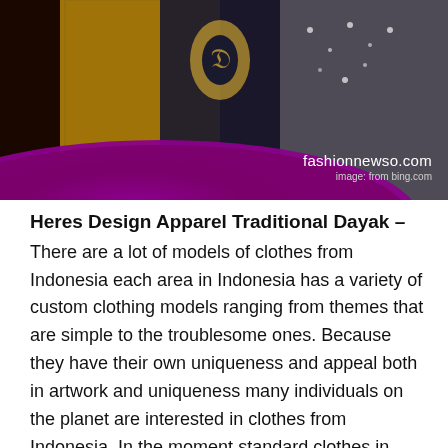[Figure (photo): Traditional Dayak apparel clothing displayed on figures, featuring ornate gold batik patterns, black velvet with decorative motifs, and elaborate silver/gold embellishments. A purple curved banner overlays the bottom of the image with the watermark 'fashionnewso.com' and 'image: from bing.com'.]
Heres Design Apparel Traditional Dayak –
There are a lot of models of clothes from Indonesia each area in Indonesia has a variety of custom clothing models ranging from themes that are simple to the troublesome ones. Because they have their own uniqueness and appeal both in artwork and uniqueness many individuals on the planet are interested in clothes from Indonesia. In the moment standard clothes in Indonesia aren't any longer customary clothes which are worn with people